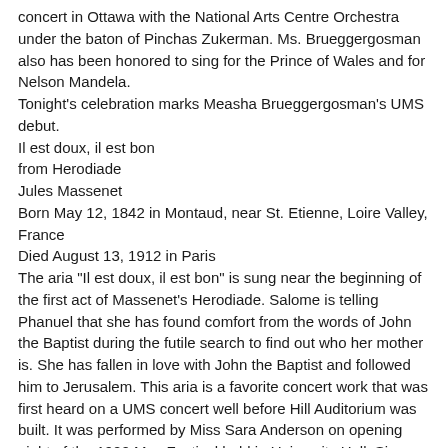concert in Ottawa with the National Arts Centre Orchestra under the baton of Pinchas Zukerman. Ms. Brueggergosman also has been honored to sing for the Prince of Wales and for Nelson Mandela.
Tonight's celebration marks Measha Brueggergosman's UMS debut.
Il est doux, il est bon
from Herodiade
Jules Massenet
Born May 12, 1842 in Montaud, near St. Etienne, Loire Valley, France
Died August 13, 1912 in Paris
The aria "Il est doux, il est bon" is sung near the beginning of the first act of Massenet's Herodiade. Salome is telling Phanuel that she has found comfort from the words of John the Baptist during the futile search to find out who her mother is. She has fallen in love with John the Baptist and followed him to Jerusalem. This aria is a favorite concert work that was first heard on a UMS concert well before Hill Auditorium was built. It was performed by Miss Sara Anderson on opening night of the 1900 May Festival held in University Hall. Since then, it has been performed in Hill by many esteemed opera stars making their UMS debuts: Dorothy Maynor (1945), Eileen Farrell (1948 debut), Rise Stevens (1943)...